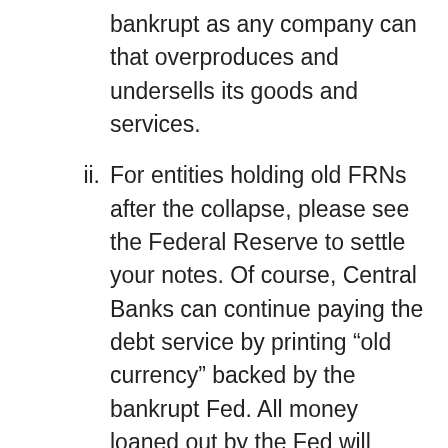bankrupt as any company can that overproduces and undersells its goods and services.
ii. For entities holding old FRNs after the collapse, please see the Federal Reserve to settle your notes. Of course, Central Banks can continue paying the debt service by printing “old currency” backed by the bankrupt Fed. All money loaned out by the Fed will have to see the Fed for redemption. Don’t come looking for We the People to bail you out